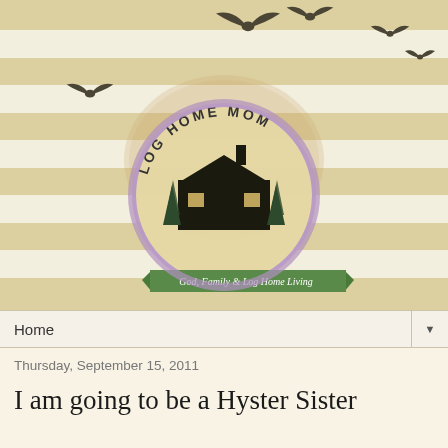[Figure (logo): Log Home Mom blog header with decorative flying birds silhouettes on tan/beige striped background, circular logo with log cabin illustration surrounded by purple ring with text 'LOG HOME MOM', green ribbon banner below reading 'God, Family & Log Home Living']
Home ▼
Thursday, September 15, 2011
I am going to be a Hyster Sister